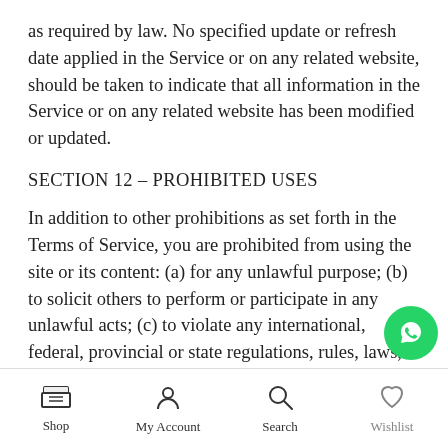as required by law. No specified update or refresh date applied in the Service or on any related website, should be taken to indicate that all information in the Service or on any related website has been modified or updated.
SECTION 12 – PROHIBITED USES
In addition to other prohibitions as set forth in the Terms of Service, you are prohibited from using the site or its content: (a) for any unlawful purpose; (b) to solicit others to perform or participate in any unlawful acts; (c) to violate any international, federal, provincial or state regulations, rules, laws, or local ordinances; (d) to infringe upon or violate our intellectual property rights
Shop | My Account | Search | Wishlist